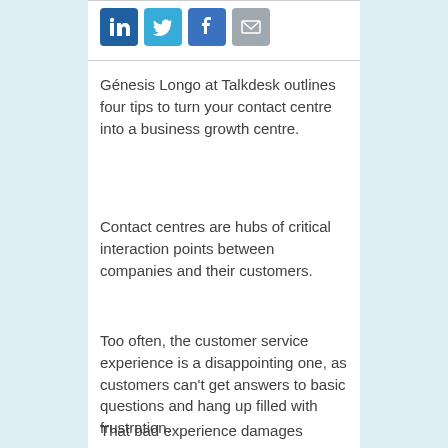[Figure (infographic): Four social media sharing icons: LinkedIn (blue), Twitter (light blue), Facebook (blue), and Email (grey)]
Génesis Longo at Talkdesk outlines four tips to turn your contact centre into a business growth centre.
Contact centres are hubs of critical interaction points between companies and their customers.
Too often, the customer service experience is a disappointing one, as customers can't get answers to basic questions and hang up filled with frustration.
That bad experience damages